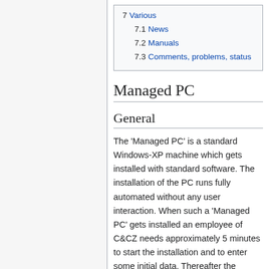7  Various
7.1  News
7.2  Manuals
7.3  Comments, problems, status
Managed PC
General
The 'Managed PC' is a standard Windows-XP machine which gets installed with standard software. The installation of the PC runs fully automated without any user interaction. When such a 'Managed PC' gets installed an employee of C&CZ needs approximately 5 minutes to start the installation and to enter some initial data. Thereafter the installation runs fully automated and will be finished after.